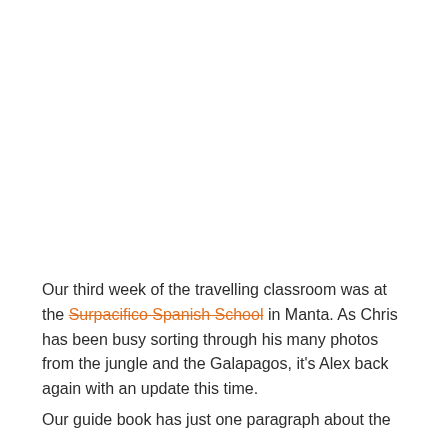Our third week of the travelling classroom was at the Surpacifico Spanish School in Manta. As Chris has been busy sorting through his many photos from the jungle and the Galapagos, it's Alex back again with an update this time.
Our guide book has just one paragraph about the